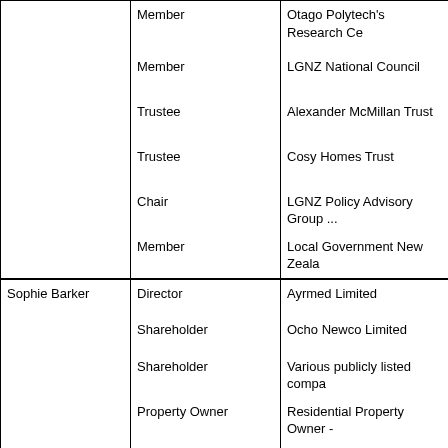| Name | Role | Organisation |
| --- | --- | --- |
|  | Member | Otago Polytech's Research Ce... |
|  | Member | LGNZ National Council |
|  | Trustee | Alexander McMillan Trust |
|  | Trustee | Cosy Homes Trust |
|  | Chair | LGNZ Policy Advisory Group ... |
|  | Member | Local Government New Zeala... |
| Sophie Barker | Director | Ayrmed Limited |
|  | Shareholder | Ocho Newco Limited |
|  | Shareholder | Various publicly listed compa... |
|  | Property Owner | Residential Property Owner -... |
|  | Beneficiary | Sans Peur Trust (Larnach Cast... |
|  | Chairperson | Dunedin Heritage Fund Trust |
|  | Trustee (strikethrough) | Dunedin Midwinter Carnival |
|  | Member (bold) | Otago Settlers Association (C... |